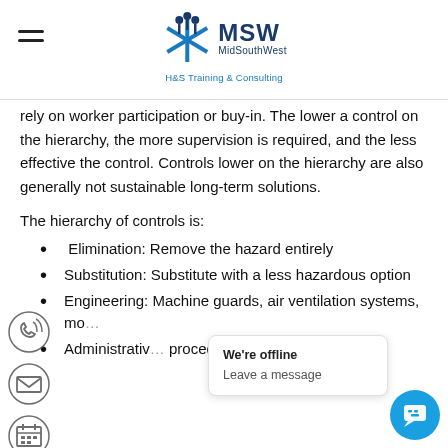MSW MidSouthWest H&S Training & Consulting
rely on worker participation or buy-in. The lower a control on the hierarchy, the more supervision is required, and the less effective the control. Controls lower on the hierarchy are also generally not sustainable long-term solutions.
The hierarchy of controls is:
Elimination: Remove the hazard entirely
Substitution: Substitute with a less hazardous option
Engineering: Machine guards, air ventilation systems, mo...
Administrative... procedures, as well as training